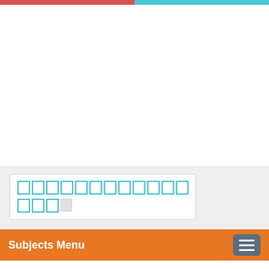top decorative bar
[Figure (screenshot): Large white empty space (advertisement/image area)]
████████████ ███ (search/input blocks displayed as cyan outlined rectangles)
Subjects Menu
Home / ICSE X / PHYSICS / 4. Electricity and Magnetism